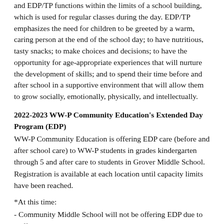and EDP/TP functions within the limits of a school building, which is used for regular classes during the day. EDP/TP emphasizes the need for children to be greeted by a warm, caring person at the end of the school day; to have nutritious, tasty snacks; to make choices and decisions; to have the opportunity for age-appropriate experiences that will nurture the development of skills; and to spend their time before and after school in a supportive environment that will allow them to grow socially, emotionally, physically, and intellectually.
2022-2023 WW-P Community Education's Extended Day Program (EDP)
WW-P Community Education is offering EDP care (before and after school care) to WW-P students in grades kindergarten through 5 and after care to students in Grover Middle School. Registration is available at each location until capacity limits have been reached.
*At this time:
- Community Middle School will not be offering EDP due to staffing constraints.
- Grover Middle School has reached capacity.
- Maurice Hawk Elementary School PM EDP has reached